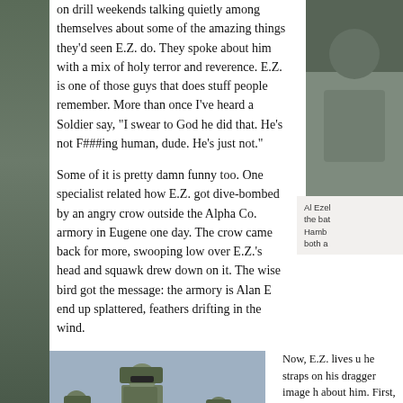on drill weekends talking quietly among themselves about some of the amazing things they'd seen E.Z. do. They spoke about him with a mix of holy terror and reverence. E.Z. is one of those guys that does stuff people remember. More than once I've heard a Soldier say, "I swear to God he did that. He's not F###ing human, dude. He's just not."
Some of it is pretty damn funny too. One specialist related how E.Z. got dive-bombed by an angry crow outside the Alpha Co. armory in Eugene one day. The crow came back for more, swooping low over E.Z.'s head and squawk drew down on it. The wise bird got the message: the armory is Alan E end up splattered, feathers drifting in the wind.
[Figure (photo): Top right: partial military/outdoor photo cropped at right edge]
Al Ezel the bat Hamb both a
[Figure (photo): Bottom left: three soldiers in combat gear and helmets walking, blue sky background]
Now, E.Z. lives u he straps on his dragger image h about him. First, I've ever met. He to make snap de